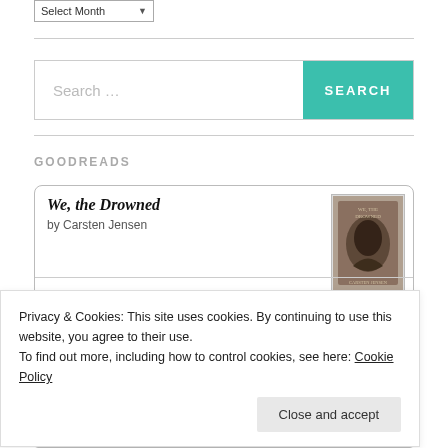[Figure (screenshot): Select Month dropdown widget]
[Figure (screenshot): Search bar with teal SEARCH button]
GOODREADS
[Figure (screenshot): Goodreads widget card showing book 'We, the Drowned' by Carsten Jensen with book cover image]
Privacy & Cookies: This site uses cookies. By continuing to use this website, you agree to their use.
To find out more, including how to control cookies, see here: Cookie Policy
[Figure (screenshot): Close and accept button for cookie banner]